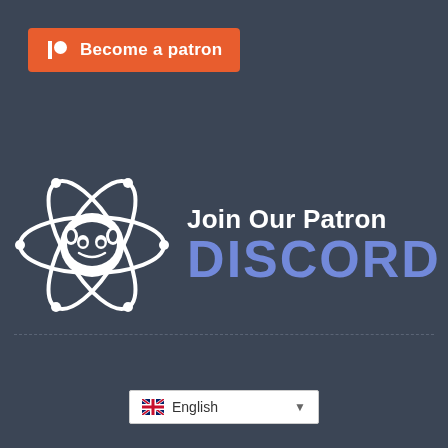[Figure (logo): Patreon 'Become a patron' button with Patreon P icon on orange-red background]
[Figure (logo): Join Our Patron Discord logo: atom/electron orbit graphic with Discord mascot inside, with text 'Join Our Patron' in white and 'DISCORD' in purple-blue]
[Figure (other): English language selector dropdown with UK flag icon]